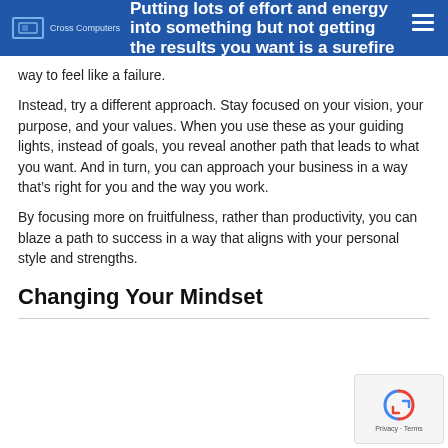Putting lots of effort and energy into something but not getting the results you want is a surefire way to feel like a failure.
way to feel like a failure.
Instead, try a different approach. Stay focused on your vision, your purpose, and your values. When you use these as your guiding lights, instead of goals, you reveal another path that leads to what you want. And in turn, you can approach your business in a way that’s right for you and the way you work.
By focusing more on fruitfulness, rather than productivity, you can blaze a path to success in a way that aligns with your personal style and strengths.
Changing Your Mindset